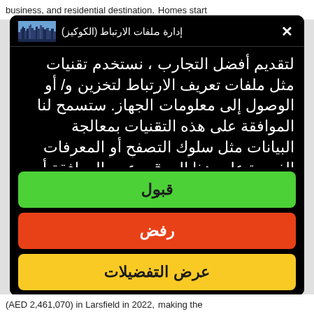business, and residential destination. Homes start
[Figure (screenshot): Cookie consent modal dialog on a dark background. Header shows a city skyline icon and Arabic text 'إدارة ملفات الارتباط (الكوكيز)' with a close X button. Body contains Arabic text explaining cookie usage. Three buttons: green 'قبول' (Accept), red 'رفض' (Reject), yellow 'عرض التفضيلات' (Show Preferences).]
(AED 2,461,070) in Lartsfield in 2022, making the